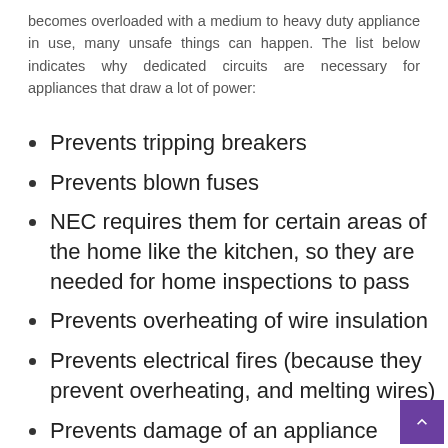becomes overloaded with a medium to heavy duty appliance in use, many unsafe things can happen. The list below indicates why dedicated circuits are necessary for appliances that draw a lot of power:
Prevents tripping breakers
Prevents blown fuses
NEC requires them for certain areas of the home like the kitchen, so they are needed for home inspections to pass
Prevents overheating of wire insulation
Prevents electrical fires (because they prevent overheating, and melting wires)
Prevents damage of an appliance